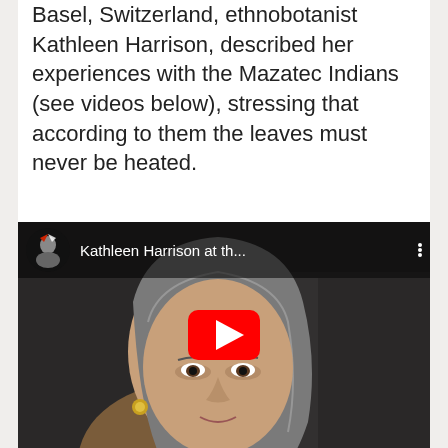Basel, Switzerland, ethnobotanist Kathleen Harrison, described her experiences with the Mazatec Indians (see videos below), stressing that according to them the leaves must never be heated.
[Figure (screenshot): YouTube video thumbnail showing Kathleen Harrison at th... with a woman with gray hair in the foreground and a red YouTube play button overlay. The video top bar shows a circular thumbnail icon and the title 'Kathleen Harrison at th...' with a three-dot menu.]